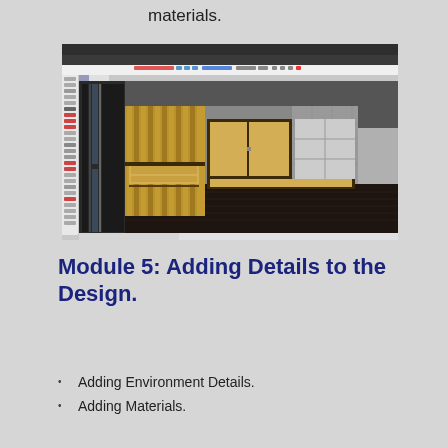materials.
[Figure (screenshot): SketchUp or similar 3D interior design software showing a room with wooden paneling, cabinets, shelving units, and a bench/desk in a dark-floored interior space.]
Module 5: Adding Details to the Design.
Adding  Environment Details.
Adding Materials.